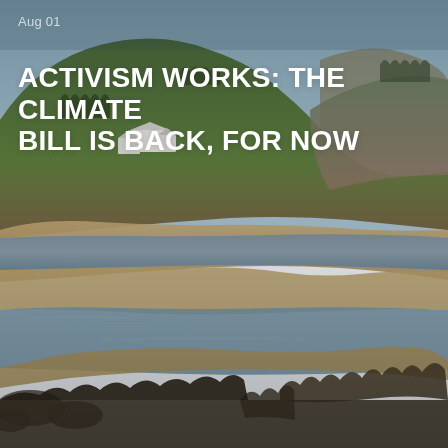Aug 01
[Figure (photo): Landscape photo of a low-water reservoir or lake with sandy exposed banks, a calm reflective water surface, rocky shoreline in the foreground with dry shrubs, and a green hillside with white buildings (houses) in the background under a hazy blue sky.]
ACTIVISM WORKS: THE CLIMATE BILL IS BACK, FOR NOW